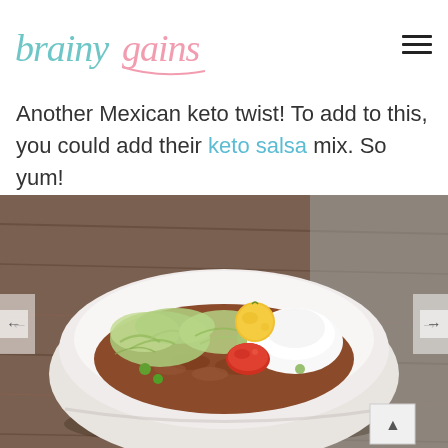brainy gains
Another Mexican keto twist! To add to this, you could add their keto salsa mix. So yum!
[Figure (photo): A white bowl filled with seasoned ground meat, shredded lettuce or cabbage, cherry tomatoes (red and yellow), and a dollop of sour cream, served on a wooden surface with a gray cloth napkin.]